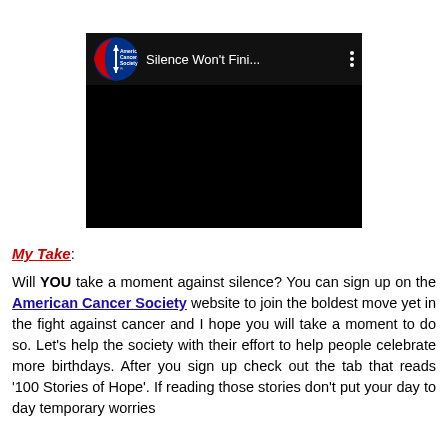[Figure (screenshot): YouTube-style video embed showing American Cancer Society logo and title 'Silence Won't Fini...' with three-dot menu icon, black video body area]
My Take:
Will YOU take a moment against silence? You can sign up on the American Cancer Society website to join the boldest move yet in the fight against cancer and I hope you will take a moment to do so. Let's help the society with their effort to help people celebrate more birthdays. After you sign up check out the tab that reads '100 Stories of Hope'. If reading those stories don't put your day to day temporary worries